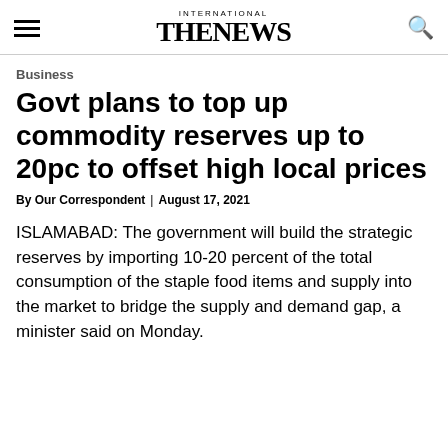INTERNATIONAL THE NEWS
Business
Govt plans to top up commodity reserves up to 20pc to offset high local prices
By Our Correspondent | August 17, 2021
ISLAMABAD: The government will build the strategic reserves by importing 10-20 percent of the total consumption of the staple food items and supply into the market to bridge the supply and demand gap, a minister said on Monday.